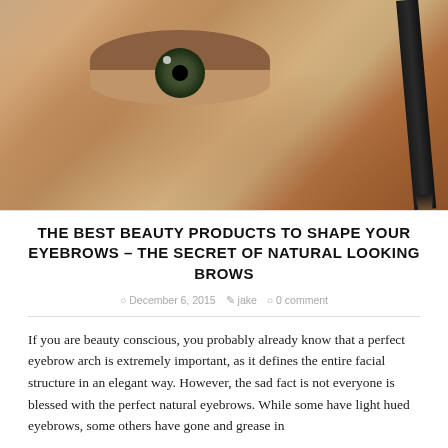[Figure (photo): Close-up photo of a woman's eye and cheek area with a dark eyebrow pencil held near the eyebrow]
THE BEST BEAUTY PRODUCTS TO SHAPE YOUR EYEBROWS – THE SECRET OF NATURAL LOOKING BROWS
December 6, 2015   jake   0 comment
If you are beauty conscious, you probably already know that a perfect eyebrow arch is extremely important, as it defines the entire facial structure in an elegant way. However, the sad fact is not everyone is blessed with the perfect natural eyebrows. While some have light hued eyebrows, some others have gone and grease in